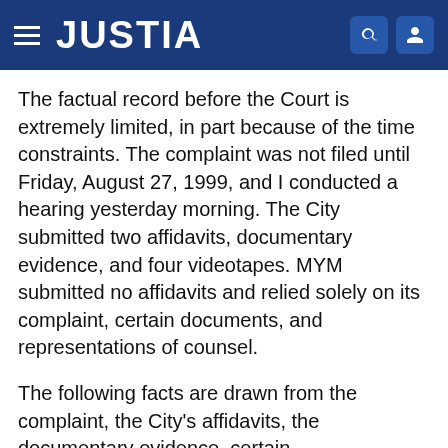JUSTIA
The factual record before the Court is extremely limited, in part because of the time constraints. The complaint was not filed until Friday, August 27, 1999, and I conducted a hearing yesterday morning. The City submitted two affidavits, documentary evidence, and four videotapes. MYM submitted no affidavits and relied solely on its complaint, certain documents, and representations of counsel.
The following facts are drawn from the complaint, the City's affidavits, the documentary evidence, certain representations of counsel (made on personal knowledge), and the videotapes. Many of the facts are disputed, including the facts as to precisely what happened at the 1998 rally, and why. Because of the time constraints, many of these factual disputes cannot be resolved at this time.